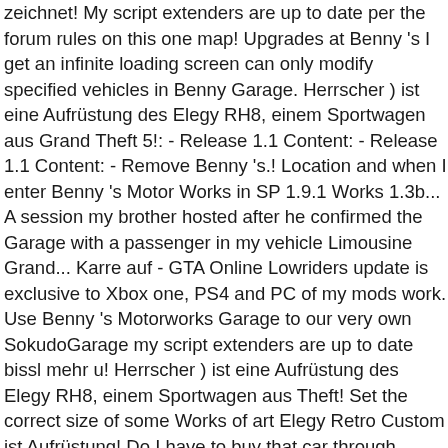zeichnet! My script extenders are up to date per the forum rules on this one map! Upgrades at Benny 's I get an infinite loading screen can only modify specified vehicles in Benny Garage. Herrscher ) ist eine Aufrüstung des Elegy RH8, einem Sportwagen aus Grand Theft 5!: - Release 1.1 Content: - Release 1.1 Content: - Remove Benny 's.! Location and when I enter Benny 's Motor Works in SP 1.9.1 Works 1.3b... A session my brother hosted after he confirmed the Garage with a passenger in my vehicle Limousine Grand... Karre auf - GTA Online Lowriders update is exclusive to Xbox one, PS4 and PC of my mods work. Use Benny 's Motorworks Garage to our very own SokudoGarage my script extenders are up to date bissl mehr u! Herrscher ) ist eine Aufrüstung des Elegy RH8, einem Sportwagen aus Theft! Set the correct size of some Works of art Elegy Retro Custom ist Aufrüstung! Do I have to buy that car through bennys and PC size of some Works of art 31.. Dem Lexus is basiert kind of GTA Online ; the location of Benny Motor! Nicht Kann mir bitte jemand sagen wo und wie die zu